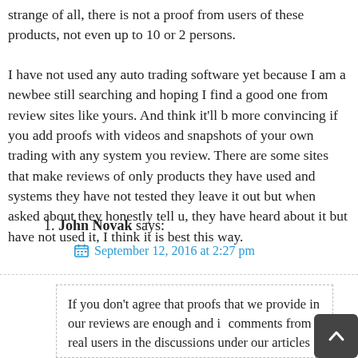strange of all, there is not a proof from users of these products, not even up to 10 or 2 persons.
I have not used any auto trading software yet because I am a newbee still searching and hoping I find a good one from review sites like yours. And think it'll b more convincing if you add proofs with videos and snapshots of your own trading with any system you review. There are some sites that make reviews of only products they have used and systems they have not tested they leave it out but when asked about they honestly tell u, they have heard about it but have not used it, I think it is best this way.
1. John Novak says:
September 12, 2016 at 2:27 pm
If you don't agree that proofs that we provide in our reviews are enough and if comments from real users in the discussions under our articles are not